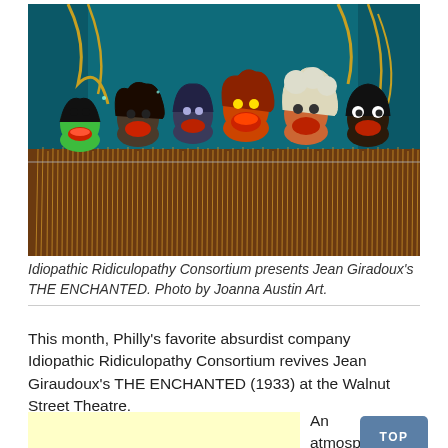[Figure (photo): Stage photo showing colorful puppet characters (resembling Muppet-style puppets) lined up behind a barrier of dried grass/straw on a theatrical stage with teal/blue and dark background. Six to seven puppets with different hair styles and expressions are visible.]
Idiopathic Ridiculopathy Consortium presents Jean Giradoux's THE ENCHANTED. Photo by Joanna Austin Art.
This month, Philly's favorite absurdist company Idiopathic Ridiculopathy Consortium revives Jean Giraudoux's THE ENCHANTED (1933) at the Walnut Street Theatre.
An atmospheric satire braided...